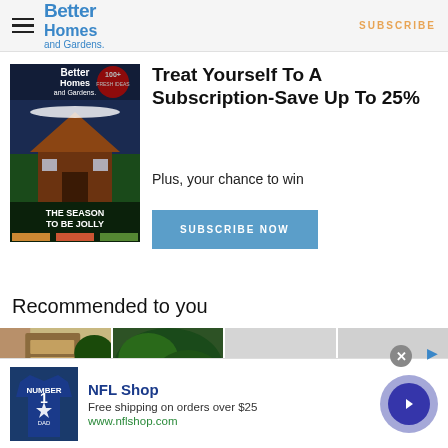Better Homes and Gardens — SUBSCRIBE
[Figure (illustration): Better Homes and Gardens magazine cover showing a log cabin with holiday decorations and text 'THE SEASON TO BE JOLLY']
Treat Yourself To A Subscription-Save Up To 25%
Plus, your chance to win
SUBSCRIBE NOW
Recommended to you
[Figure (photo): Recommended content images showing a door, a plant, and grey placeholder images with navigation arrows]
[Figure (advertisement): NFL Shop advertisement with jersey image, text 'NFL Shop', 'Free shipping on orders over $25', 'www.nflshop.com', close button, and forward chevron]